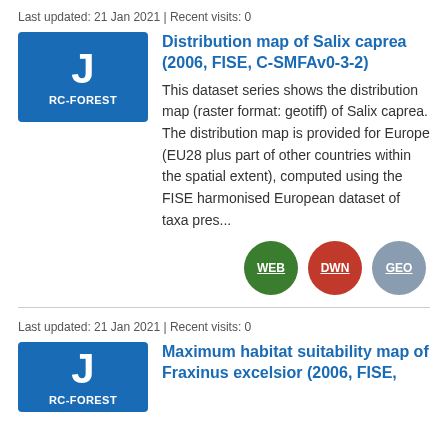Last updated: 21 Jan 2021 | Recent visits: 0
[Figure (logo): Blue box with letter J and label RC-FOREST]
Distribution map of Salix caprea (2006, FISE, C-SMFAv0-3-2)
This dataset series shows the distribution map (raster format: geotiff) of Salix caprea. The distribution map is provided for Europe (EU28 plus part of other countries within the spatial extent), computed using the FISE harmonised European dataset of taxa pres...
WEB DWN GEO
Last updated: 21 Jan 2021 | Recent visits: 0
[Figure (logo): Blue box with letter J and label RC-FOREST]
Maximum habitat suitability map of Fraxinus excelsior (2006, FISE,